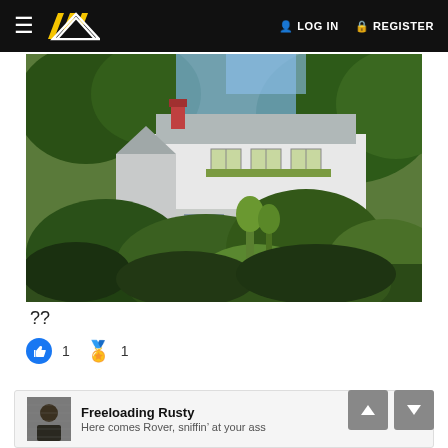≡  [Logo]  LOG IN   REGISTER
[Figure (photo): Aerial/distant view of a white two-story house surrounded by dense green trees and shrubs, taken in daylight.]
??
👍 1  ⭐ 1
Freeloading Rusty
Here comes Rover, sniffin' at your ass